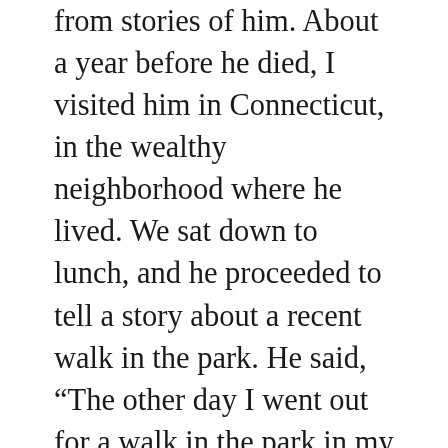from stories of him. About a year before he died, I visited him in Connecticut, in the wealthy neighborhood where he lived. We sat down to lunch, and he proceeded to tell a story about a recent walk in the park. He said, “The other day I went out for a walk in the park in my neighborhood. I was